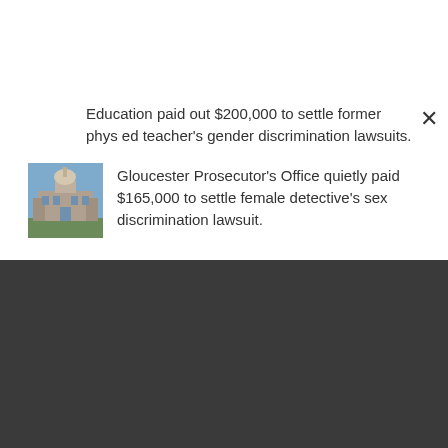Education paid out $200,000 to settle former phys ed teacher's gender discrimination lawsuits.
[Figure (photo): Photo of a historic stone church building with a dome/tower]
Gloucester Prosecutor's Office quietly paid $165,000 to settle female detective's sex discrimination lawsuit.